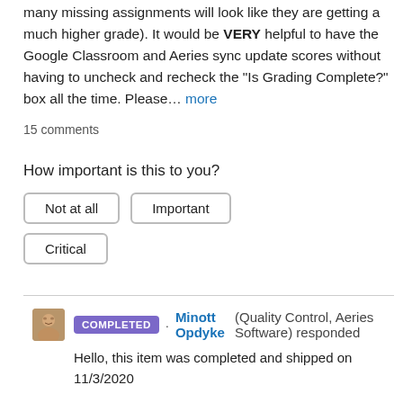many missing assignments will look like they are getting a much higher grade). It would be VERY helpful to have the Google Classroom and Aeries sync update scores without having to uncheck and recheck the "Is Grading Complete?" box all the time. Please... more
15 comments
How important is this to you?
Not at all
Important
Critical
COMPLETED · Minott Opdyke (Quality Control, Aeries Software) responded
Hello, this item was completed and shipped on 11/3/2020